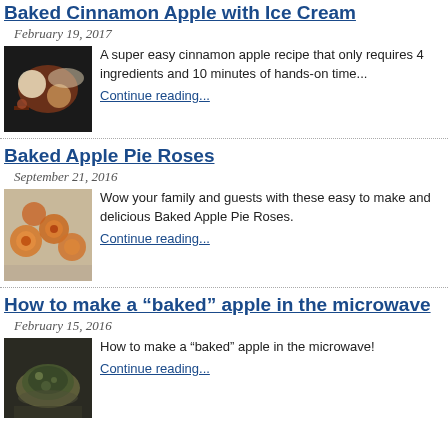Baked Cinnamon Apple with Ice Cream
February 19, 2017
[Figure (photo): Photo of baked cinnamon apple with ice cream on a dark background]
A super easy cinnamon apple recipe that only requires 4 ingredients and 10 minutes of hands-on time... Continue reading...
Baked Apple Pie Roses
September 21, 2016
[Figure (photo): Photo of baked apple pie roses on a baking tray]
Wow your family and guests with these easy to make and delicious Baked Apple Pie Roses. Continue reading...
How to make a “baked” apple in the microwave
February 15, 2016
[Figure (photo): Photo of a baked apple in a bowl]
How to make a “baked” apple in the microwave! Continue reading...